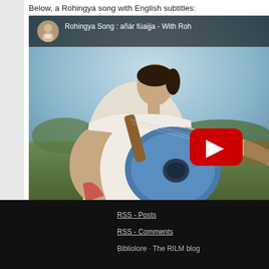Below, a Rohingya song with English subtitles:
[Figure (screenshot): YouTube video thumbnail showing a man playing a blue mandolin/oud instrument outdoors. The video header shows a channel avatar and title 'Rohingya Song : añár fúaijja - With Roh...' with a YouTube play button overlay in the center.]
RSS - Posts
RSS - Comments
Bibliolore · The RILM blog